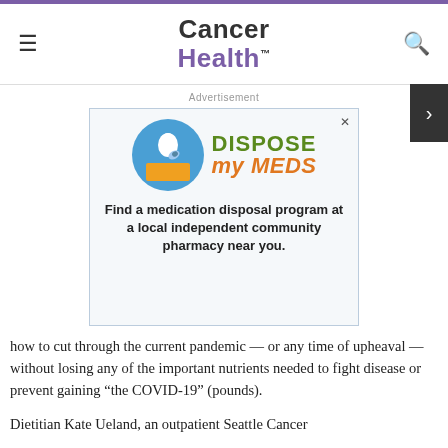Cancer Health
Advertisement
[Figure (illustration): Dispose My Meds advertisement featuring a circular logo with a hand dropping a pill into an orange disposal box, with 'DISPOSE my MEDS' text in green and orange, and the tagline: Find a medication disposal program at a local independent community pharmacy near you.]
how to cut through the current pandemic — or any time of upheaval — without losing any of the important nutrients needed to fight disease or prevent gaining “the COVID-19” (pounds).
Dietitian Kate Ueland, an outpatient Seattle Cancer